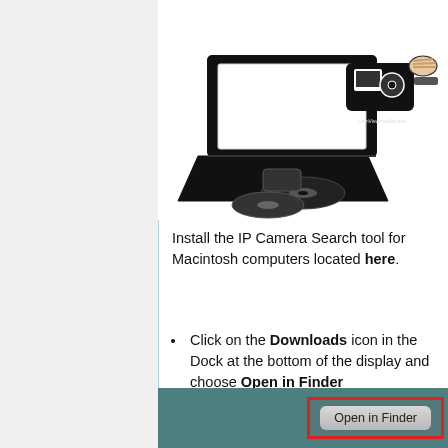[Figure (illustration): Black and white illustration of a laptop computer with a USB drive/dongle being inserted, and CD/DVD discs nearby. The USB device shows text 'CamViewInstaller.exe'.]
Install the IP Camera Search tool for Macintosh computers located here.
Click on the Downloads icon in the Dock at the bottom of the display and choose Open in Finder
[Figure (screenshot): Screenshot showing a teal/dark green background with a red-bordered popup containing an 'Open in Finder' button.]